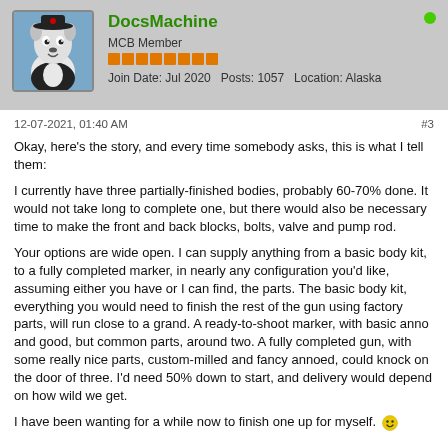[Figure (illustration): Avatar of DocsMachine - cartoon dog/character illustration]
DocsMachine
MCB Member
Join Date: Jul 2020   Posts: 1057   Location: Alaska
12-07-2021, 01:40 AM
#3
Okay, here's the story, and every time somebody asks, this is what I tell them:
I currently have three partially-finished bodies, probably 60-70% done. It would not take long to complete one, but there would also be necessary time to make the front and back blocks, bolts, valve and pump rod.
Your options are wide open. I can supply anything from a basic body kit, to a fully completed marker, in nearly any configuration you'd like, assuming either you have or I can find, the parts. The basic body kit, everything you would need to finish the rest of the gun using factory parts, will run close to a grand. A ready-to-shoot marker, with basic anno and good, but common parts, around two. A fully completed gun, with some really nice parts, custom-milled and fancy annoed, could knock on the door of three. I'd need 50% down to start, and delivery would depend on how wild we get.
I have been wanting for a while now to finish one up for myself. 🙂